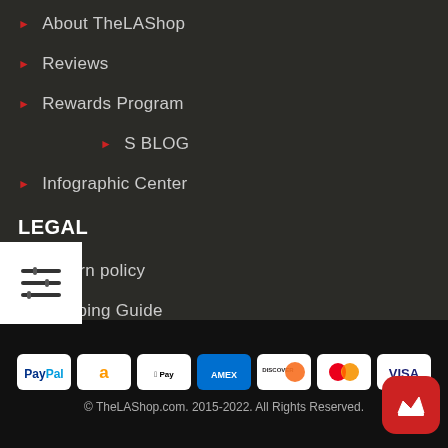About TheLAShop
Reviews
Rewards Program
AS BLOG
Infographic Center
LEGAL
Return policy
Shipping Guide
Security & Privacy
Terms and Conditions
[Figure (other): Payment method icons: PayPal, Amazon, Apple Pay, American Express, Discover, Mastercard, Visa]
© TheLAShop.com. 2015-2022. All Rights Reserved.